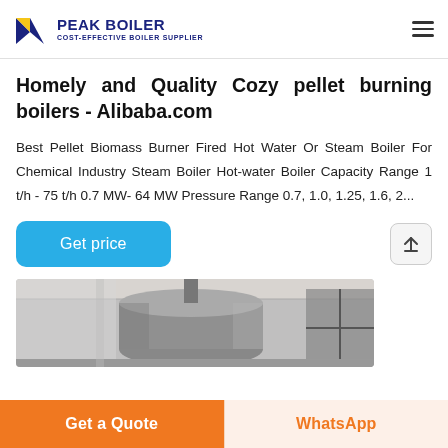PEAK BOILER — COST-EFFECTIVE BOILER SUPPLIER
Homely and Quality Cozy pellet burning boilers - Alibaba.com
Best Pellet Biomass Burner Fired Hot Water Or Steam Boiler For Chemical Industry Steam Boiler Hot-water Boiler Capacity Range 1 t/h - 75 t/h 0.7 MW- 64 MW Pressure Range 0.7, 1.0, 1.25, 1.6, 2...
[Figure (photo): Industrial boiler equipment in a factory setting]
Get a Quote | WhatsApp